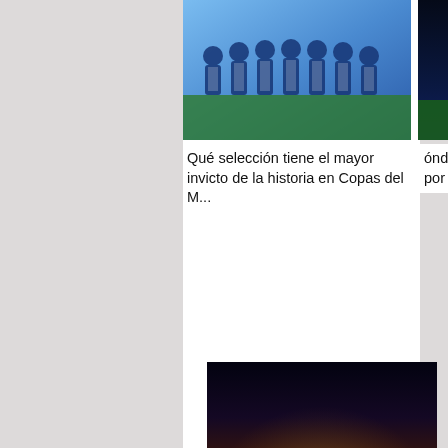[Figure (photo): Soccer team players lined up in blue jerseys]
[Figure (photo): Argentina vs Mexico World Cup Qatar 2022 promotional image with soccer ball and stadium]
Qué selección tiene el mayor invicto de la historia en Copas del M...
ónde VER: Argentina vs. México por el Mundial de Qatar 2022
[Figure (photo): Aerial night view of Qatar 2022 World Cup final stadium illuminated at dusk]
Qatar 2022: el estadio de la final del Mundial tendrá su primer partido internacional